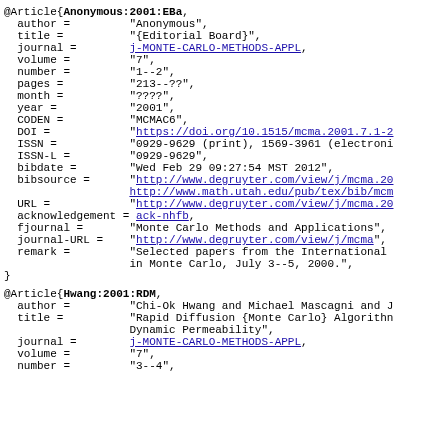@Article{Anonymous:2001:EBa, author = "Anonymous", title = "{Editorial Board}", journal = j-MONTE-CARLO-METHODS-APPL, volume = "7", number = "1--2", pages = "213--??", month = "????", year = "2001", CODEN = "MCMAC6", DOI = "https://doi.org/10.1515/mcma.2001.7.1-2...", ISSN = "0929-9629 (print), 1569-3961 (electronic)", ISSN-L = "0929-9629", bibdate = "Wed Feb 29 09:27:54 MST 2012", bibsource = "http://www.degruyter.com/view/j/mcma.20...", acknowledgement = ack-nhfb, fjournal = "Monte Carlo Methods and Applications", journal-URL = "http://www.degruyter.com/view/j/mcma", remark = "Selected papers from the International in Monte Carlo, July 3--5, 2000.", }
@Article{Hwang:2001:RDM, author = "Chi-Ok Hwang and Michael Mascagni and J...", title = "Rapid Diffusion {Monte Carlo} Algorithm... Dynamic Permeability", journal = j-MONTE-CARLO-METHODS-APPL, volume = "7", number = "3--4"